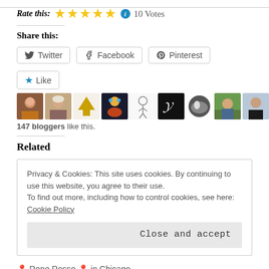Rate this: ★★★★★ ℹ 10 Votes
Share this:
Twitter  Facebook  Pinterest
[Figure (other): Like button with star icon, followed by 10 blogger avatar thumbnails. Text: 147 bloggers like this.]
Related
Privacy & Cookies: This site uses cookies. By continuing to use this website, you agree to their use.
To find out more, including how to control cookies, see here: Cookie Policy
[Close and accept button]
📍 Rene Rosso 📍 in Chicago